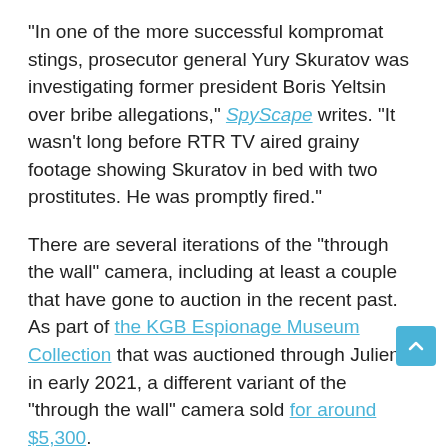“In one of the more successful kompromat stings, prosecutor general Yury Skuratov was investigating former president Boris Yeltsin over bribe allegations,” SpyScape writes. “It wasn’t long before RTR TV aired grainy footage showing Skuratov in bed with two prostitutes. He was promptly fired.”
There are several iterations of the “through the wall” camera, including at least a couple that have gone to auction in the recent past. As part of the KGB Espionage Museum Collection that was auctioned through Julien’s in early 2021, a different variant of the “through the wall” camera sold for around $5,300.
Another one that included an original wooden box and features a design far more similar to this most recent listing sold for $5,000 during that same auction. That model combined what looks to be a binocular attachment below